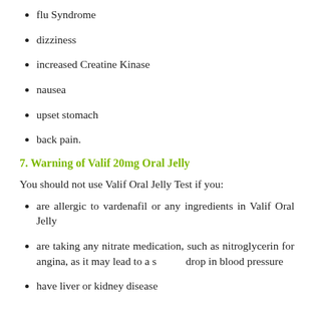flu Syndrome
dizziness
increased Creatine Kinase
nausea
upset stomach
back pain.
7. Warning of Valif 20mg Oral Jelly
You should not use Valif Oral Jelly Test if you:
are allergic to vardenafil or any ingredients in Valif Oral Jelly
are taking any nitrate medication, such as nitroglycerin for angina, as it may lead to a sudden drop in blood pressure
have liver or kidney disease